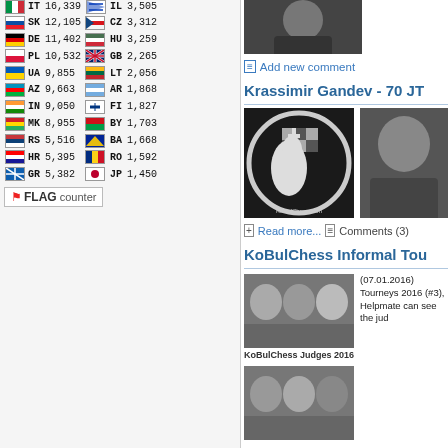[Figure (table-as-image): Flag counter widget showing country codes and visit counts in two columns, with flags]
[Figure (photo): Person photo cropped, dark background]
Add new comment
Krassimir Gandev - 70 JT
[Figure (logo): KoBulChess.com circular chess logo with knight piece on chessboard]
[Figure (photo): Portrait of older man]
Read more...   Comments (3)
KoBulChess Informal Tou
[Figure (photo): KoBulChess Judges 2016 - three judges photo]
(07.01.2016) Tourneys 2016 (#3), Helpmate can see the jud
KoBulChess Judges 2016
[Figure (photo): Three more judges photos]